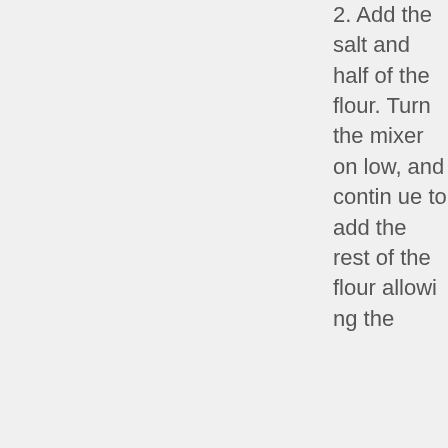2. Add the salt and half of the flour. Turn the mixer on low, and continue to add the rest of the flour allowing the